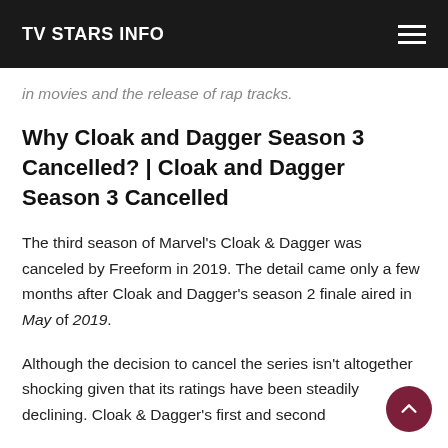TV STARS INFO
in movies and the release of rap tracks.
Why Cloak and Dagger Season 3 Cancelled? | Cloak and Dagger Season 3 Cancelled
The third season of Marvel's Cloak & Dagger was canceled by Freeform in 2019. The detail came only a few months after Cloak and Dagger's season 2 finale aired in May of 2019.
Although the decision to cancel the series isn't altogether shocking given that its ratings have been steadily declining. Cloak & Dagger's first and second